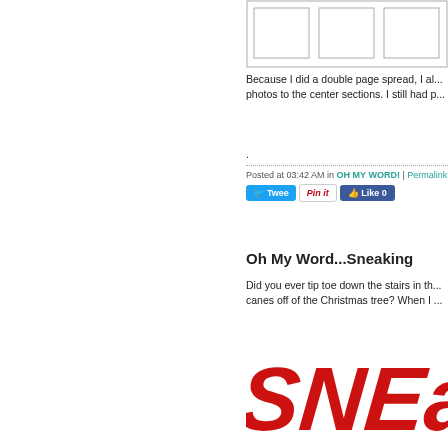[Figure (other): Partial table with three empty cells visible at the top of the page]
Because I did a double page spread, I al... photos to the center sections. I still had p...
.
Posted at 03:42 AM in OH MY WORD! | Permalink
[Figure (other): Social sharing buttons: Tweet, Pin it, Like 0]
Oh My Word...Sneaking
Did you ever tip toe down the stairs in th... canes off of the Christmas tree? When I ...
[Figure (other): Large red handwritten text reading 'SNEaki...' extending off page]